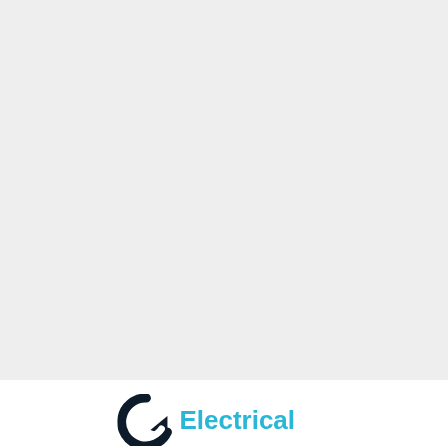[Figure (logo): Electrical logo with a circular arrow icon in dark navy/black and the word 'Electrical' in cyan/blue bold text]
[Figure (other): Cyan/blue rounded square button with a white upward-pointing chevron arrow, used as a scroll-to-top button]